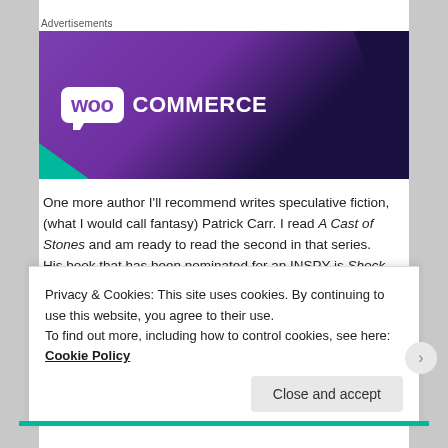Advertisements
[Figure (logo): WooCommerce advertisement banner with purple gradient background, teal triangle accent, and WooCommerce logo in white on purple speech bubble.]
One more author I'll recommend writes speculative fiction, (what I would call fantasy) Patrick Carr. I read A Cast of Stones and am ready to read the second in that series. His book that has been nominated for an INSPY is Shock
Privacy & Cookies: This site uses cookies. By continuing to use this website, you agree to their use.
To find out more, including how to control cookies, see here: Cookie Policy